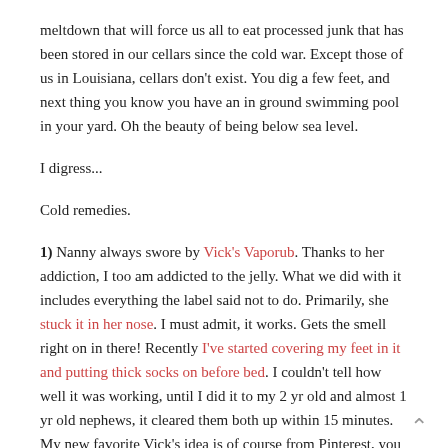meltdown that will force us all to eat processed junk that has been stored in our cellars since the cold war. Except those of us in Louisiana, cellars don't exist. You dig a few feet, and next thing you know you have an in ground swimming pool in your yard. Oh the beauty of being below sea level.
I digress...
Cold remedies.
1) Nanny always swore by Vick's Vaporub. Thanks to her addiction, I too am addicted to the jelly. What we did with it includes everything the label said not to do. Primarily, she stuck it in her nose. I must admit, it works. Gets the smell right on in there! Recently I've started covering my feet in it and putting thick socks on before bed. I couldn't tell how well it was working, until I did it to my 2 yr old and almost 1 yr old nephews, it cleared them both up within 15 minutes. My new favorite Vick's idea is of course from Pinterest, you can put it in your Scentsy warmer with a teaspoon of water. I also have a camphor menthol mist, so I added a bit in there with it... my whole house now smells like Vick's. I love it. Jeremy keeps